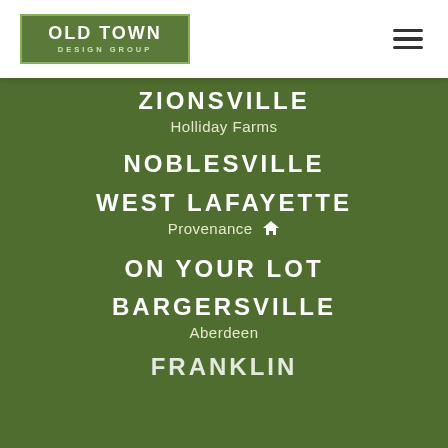[Figure (logo): Old Town Design Group logo: green box with white double border, bold white text 'OLD TOWN' and smaller 'DESIGN GROUP']
[Figure (other): Hamburger menu icon: three horizontal dark bars]
ZIONSVILLE
Holliday Farms
NOBLESVILLE
WEST LAFAYETTE
Provenance 🏠
ON YOUR LOT
BARGERSVILLE
Aberdeen
FRANKLIN